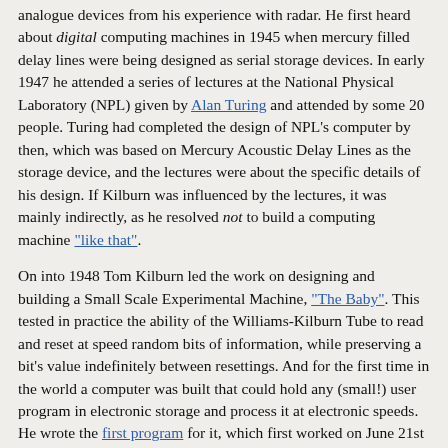analogue devices from his experience with radar. He first heard about digital computing machines in 1945 when mercury filled delay lines were being designed as serial storage devices. In early 1947 he attended a series of lectures at the National Physical Laboratory (NPL) given by Alan Turing and attended by some 20 people. Turing had completed the design of NPL's computer by then, which was based on Mercury Acoustic Delay Lines as the storage device, and the lectures were about the specific details of his design. If Kilburn was influenced by the lectures, it was mainly indirectly, as he resolved not to build a computing machine "like that".
On into 1948 Tom Kilburn led the work on designing and building a Small Scale Experimental Machine, "The Baby". This tested in practice the ability of the Williams-Kilburn Tube to read and reset at speed random bits of information, while preserving a bit's value indefinitely between resettings. And for the first time in the world a computer was built that could hold any (small!) user program in electronic storage and process it at electronic speeds. He wrote the first program for it, which first worked on June 21st 1948.
In late 1948 Tom Kilburn joined the staff of the Electrical Engineering department and was awarded a Ph.D. for his work on the Williams-Kilburn Tube and the Baby.